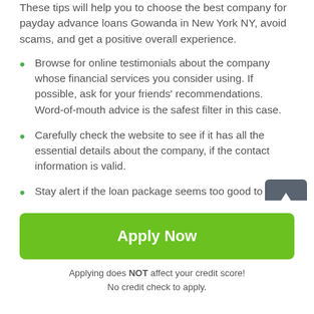These tips will help you to choose the best company for payday advance loans Gowanda in New York NY, avoid scams, and get a positive overall experience.
Browse for online testimonials about the company whose financial services you consider using. If possible, ask for your friends' recommendations. Word-of-mouth advice is the safest filter in this case.
Carefully check the website to see if it has all the essential details about the company, if the contact information is valid.
Stay alert if the loan package seems too good to be true. Across the state, lenders offer more or less similar interest rates and conditions that are regulated by law.
[Figure (other): Scroll-to-top button with upward arrow icon, dark grey rounded square]
Apply Now
Applying does NOT affect your credit score! No credit check to apply.